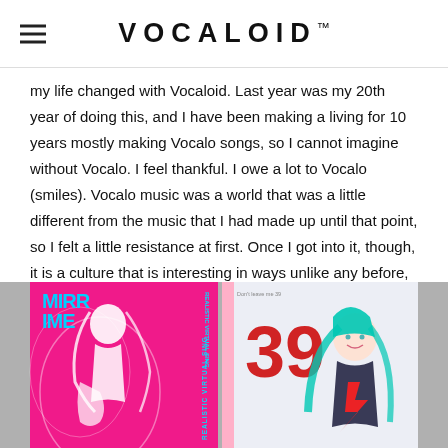VOCALOID™
my life changed with Vocaloid. Last year was my 20th year of doing this, and I have been making a living for 10 years mostly making Vocalo songs, so I cannot imagine without Vocalo. I feel thankful. I owe a lot to Vocalo (smiles). Vocalo music was a world that was a little different from the music that I had made up until that point, so I felt a little resistance at first. Once I got into it, though, it is a culture that is interesting in ways unlike any before, and I am glad that I tried it. I never thought that I myself would enter this culture.
[Figure (photo): Two anime-style CD album covers side by side. Left cover has a pink background with a white-haired anime girl playing guitar and the text 'MIRRIME REALISTIC VIRTUAL SING'. Right cover features Hatsune Miku (teal-haired anime character) with the number '39' prominently displayed.]